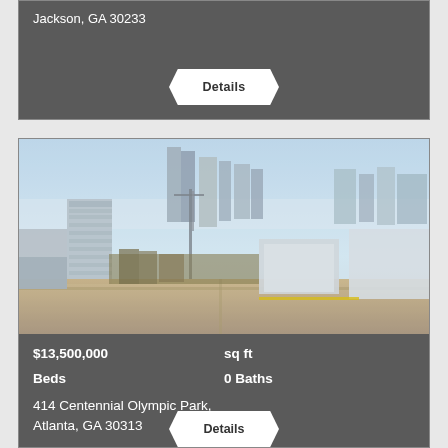Jackson, GA 30233
Details
[Figure (photo): Aerial drone photograph of Atlanta, Georgia city skyline with skyscrapers, under-construction buildings, and urban landscape on a clear day.]
$13,500,000
sq ft
Beds
0 Baths
414 Centennial Olympic Park,
Atlanta, GA 30313
Details